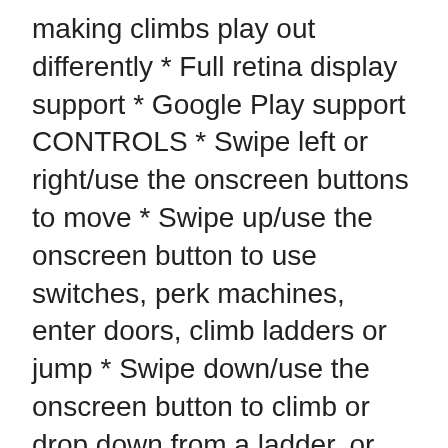making climbs play out differently * Full retina display support * Google Play support CONTROLS * Swipe left or right/use the onscreen buttons to move * Swipe up/use the onscreen button to use switches, perk machines, enter doors, climb ladders or jump * Swipe down/use the onscreen button to climb or drop down from a ladder, or turn around * Use the onscreen button to fire your slingshot, or glue gun, when you have them TIPS & TRICKS * Dying is fun and a great learning experience! * Every obstacle represents a different threat, learn the patterns! * Keep moving to achieve various boost bonuses! * Avoid enemies and obstacles – or take them out with a slingshot! * Activate perk machines to gain an advantage! * Your ghost might be a valuable teacher, but do not follow them into